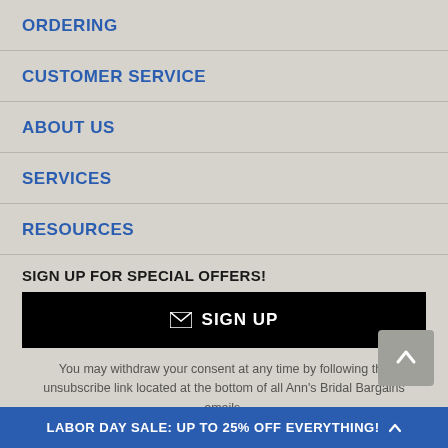ORDERING
CUSTOMER SERVICE
ABOUT US
SERVICES
RESOURCES
SIGN UP FOR SPECIAL OFFERS!
✉ SIGN UP
You may withdraw your consent at any time by following the unsubscribe link located at the bottom of all Ann's Bridal Bargains emails.
LABOR DAY SALE: UP TO 25% OFF EVERYTHING! ▲